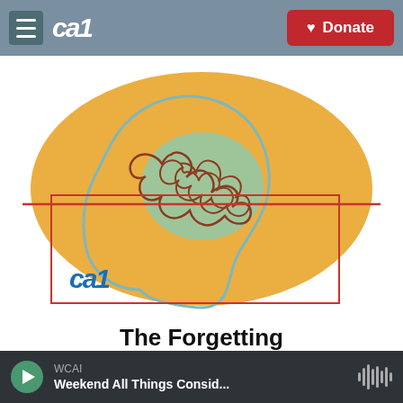CAI  ♥ Donate
[Figure (illustration): Podcast artwork showing a side-profile silhouette of a human head with a teal/green brain area filled with a tangled brown scribble/knotted line, set against an orange/golden background splash. A thin red horizontal line runs across the image. The CAI logo appears in blue at the bottom left of the artwork. A red border rectangle overlays part of the image.]
The Forgetting
Listen To The Podcast
WCAI  Weekend All Things Consid...